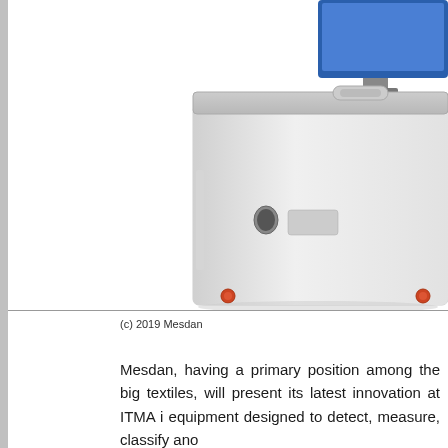[Figure (photo): Photo of a white industrial textile testing machine (Mesdan equipment) with a monitor on top right, on a white background. Copyright 2019 Mesdan.]
(c) 2019 Mesdan
Mesdan, having a primary position among the big textiles, will present its latest innovation at ITMA i equipment designed to detect, measure, classify ano